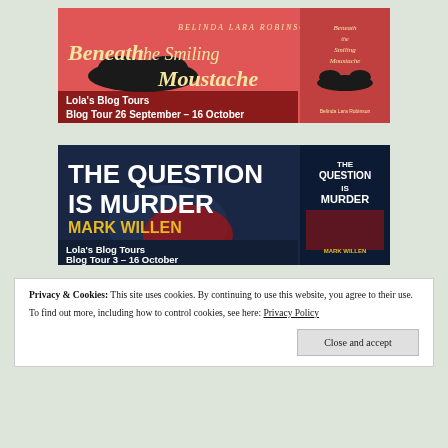[Figure (illustration): Blog tour banner for 'Beneath the Smiling Moustache' by Belinda Lara Robinson. Red/coral background with mustache graphic and book cover. Text: Lola's Blog Tours, Blog Tour 26 September - 16 October.]
[Figure (illustration): Blog tour banner for 'The Question is Murder' by Mark Willen. Dark blue background with Capitol building imagery and book cover. Text: The Question is Murder, Mark Willen (in yellow), Lola's Blog Tours, Blog Tour 3 - 16 October.]
Privacy & Cookies: This site uses cookies. By continuing to use this website, you agree to their use.
To find out more, including how to control cookies, see here: Privacy Policy
Close and accept